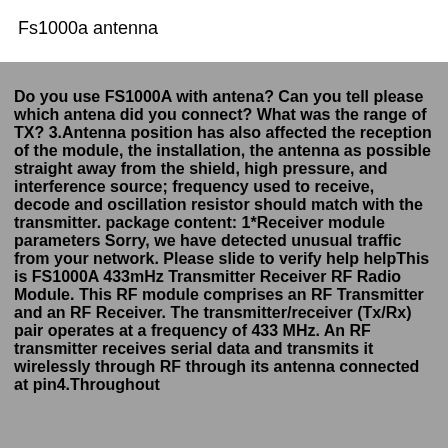Fs1000a antenna
Do you use FS1000A with antena? Can you tell please which antena did you connect? What was the range of TX? 3.Antenna position has also affected the reception of the module, the installation, the antenna as possible straight away from the shield, high pressure, and interference source; frequency used to receive, decode and oscillation resistor should match with the transmitter. package content: 1*Receiver module parameters Sorry, we have detected unusual traffic from your network. Please slide to verify help helpThis is FS1000A 433mHz Transmitter Receiver RF Radio Module. This RF module comprises an RF Transmitter and an RF Receiver. The transmitter/receiver (Tx/Rx) pair operates at a frequency of 433 MHz. An RF transmitter receives serial data and transmits it wirelessly through RF through its antenna connected at pin4.Throughout